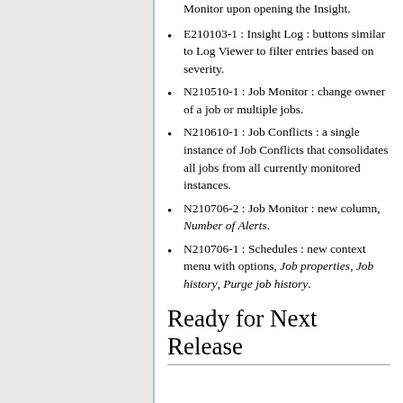Monitor upon opening the Insight.
E210103-1 : Insight Log : buttons similar to Log Viewer to filter entries based on severity.
N210510-1 : Job Monitor : change owner of a job or multiple jobs.
N210610-1 : Job Conflicts : a single instance of Job Conflicts that consolidates all jobs from all currently monitored instances.
N210706-2 : Job Monitor : new column, Number of Alerts.
N210706-1 : Schedules : new context menu with options, Job properties, Job history, Purge job history.
Ready for Next Release